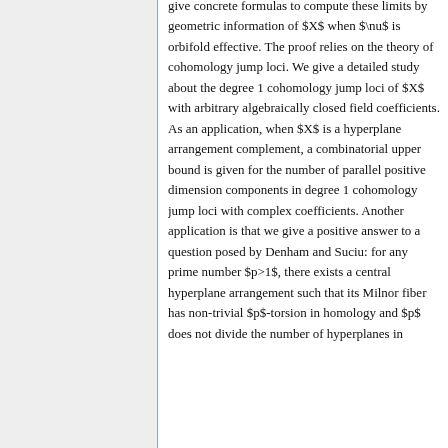give concrete formulas to compute these limits by geometric information of $X$ when $\nu$ is orbifold effective. The proof relies on the theory of cohomology jump loci. We give a detailed study about the degree 1 cohomology jump loci of $X$ with arbitrary algebraically closed field coefficients. As an application, when $X$ is a hyperplane arrangement complement, a combinatorial upper bound is given for the number of parallel positive dimension components in degree 1 cohomology jump loci with complex coefficients. Another application is that we give a positive answer to a question posed by Denham and Suciu: for any prime number $p>1$, there exists a central hyperplane arrangement such that its Milnor fiber has non-trivial $p$-torsion in homology and $p$ does not divide the number of hyperplanes in